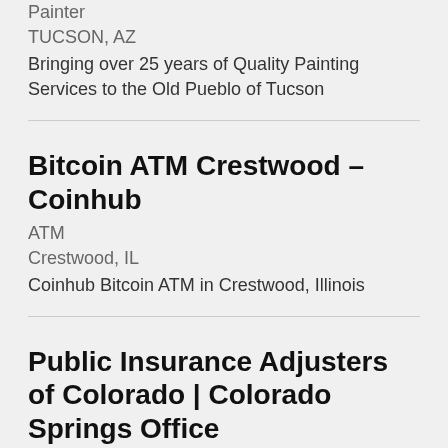Painter
TUCSON, AZ
Bringing over 25 years of Quality Painting Services to the Old Pueblo of Tucson
Bitcoin ATM Crestwood – Coinhub
ATM
Crestwood, IL
Coinhub Bitcoin ATM in Crestwood, Illinois
Public Insurance Adjusters of Colorado | Colorado Springs Office